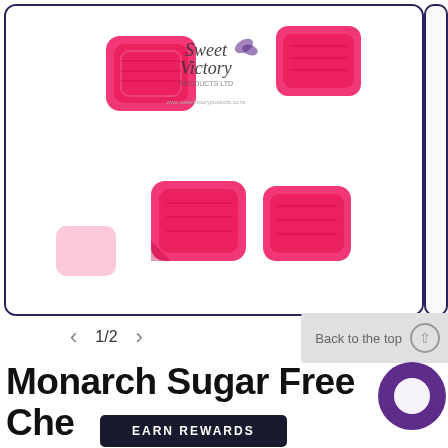[Figure (photo): Four pink/red sugar-free chewy candy pieces on white background, with Sweet Victory Products Ltd logo and website URL in the center top area]
1/2
Back to the top
Monarch Sugar Free Che... Dr...ed Sweets
EARN REWARDS